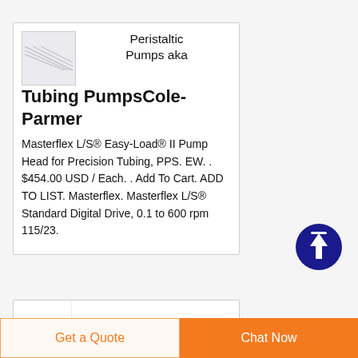[Figure (illustration): Small product thumbnail image placeholder with diagonal line pattern]
Peristaltic Pumps aka Tubing PumpsCole-Parmer
Masterflex L/S® Easy-Load® II Pump Head for Precision Tubing, PPS. EW. . $454.00 USD / Each. . Add To Cart. ADD TO LIST. Masterflex. Masterflex L/S® Standard Digital Drive, 0.1 to 600 rpm 115/23.
[Figure (illustration): Partial product card at bottom with a red pump illustration]
[Figure (other): Dark blue circular scroll-to-top button with upward arrow]
Get a Quote
Chat Now